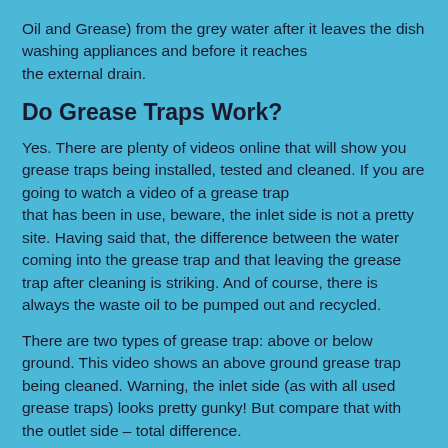Oil and Grease) from the grey water after it leaves the dish washing appliances and before it reaches the external drain.
Do Grease Traps Work?
Yes. There are plenty of videos online that will show you grease traps being installed, tested and cleaned. If you are going to watch a video of a grease trap that has been in use, beware, the inlet side is not a pretty site. Having said that, the difference between the water coming into the grease trap and that leaving the grease trap after cleaning is striking. And of course, there is always the waste oil to be pumped out and recycled.
There are two types of grease trap: above or below ground. This video shows an above ground grease trap being cleaned. Warning, the inlet side (as with all used grease traps) looks pretty gunky! But compare that with the outlet side – total difference.